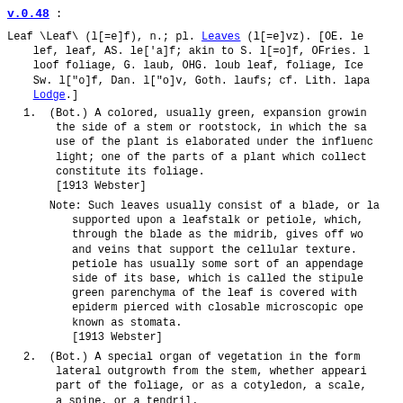v.0.48 :
Leaf \Leaf\ (l[=e]f), n.; pl. Leaves (l[=e]vz). [OE. lef, leaf, AS. le['a]f; akin to S. l[=o]f, OFries. loof foliage, G. laub, OHG. loub leaf, foliage, Icel. Sw. l["o]f, Dan. l["o]v, Goth. laufs; cf. Lith. lapa Lodge.]
1. (Bot.) A colored, usually green, expansion growing the side of a stem or rootstock, in which the sap use of the plant is elaborated under the influence light; one of the parts of a plant which collects constitute its foliage.
[1913 Webster]
Note: Such leaves usually consist of a blade, or lar supported upon a leafstalk or petiole, which, through the blade as the midrib, gives off woo and veins that support the cellular texture. petiole has usually some sort of an appendage side of its base, which is called the stipule green parenchyma of the leaf is covered with a epiderm pierced with closable microscopic oper known as stomata.
[1913 Webster]
2. (Bot.) A special organ of vegetation in the form lateral outgrowth from the stem, whether appearin part of the foliage, or as a cotyledon, a scale, a spine, or a tendril.